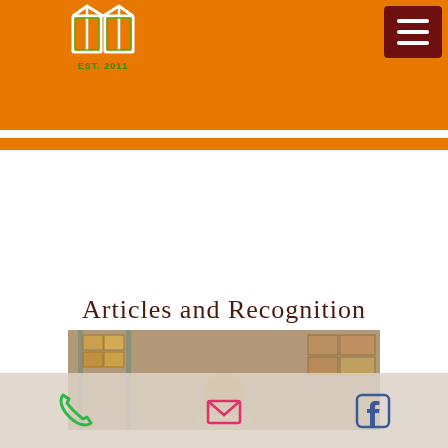[Figure (logo): Website header with orange background, green and white logo showing a building/book icon with 'EST. 2011' text, and a dark red hamburger menu button in top right]
Articles and Recognition
[Figure (photo): Photo of a person in a warehouse setting with shelves of cardboard boxes in the background]
[Figure (infographic): Bottom contact bar with phone icon, email icon, and Facebook icon]